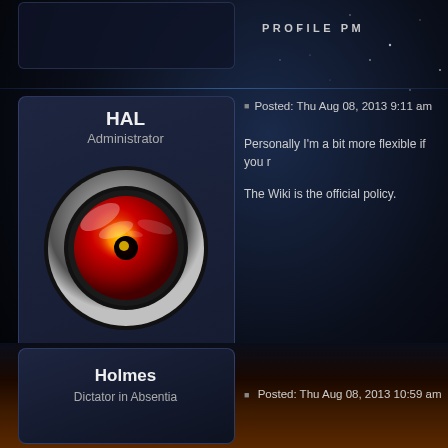PROFILE PM
[Figure (screenshot): HAL 9000 eye avatar in dark card]
HAL
Administrator
Senior RPA
Posted: Thu Aug 08, 2013 9:11 am
Personally I'm a bit more flexible if you r
The Wiki is the official policy.
PROFILE PM
Holmes
Dictator in Absentia
Posted: Thu Aug 08, 2013 10:59 am